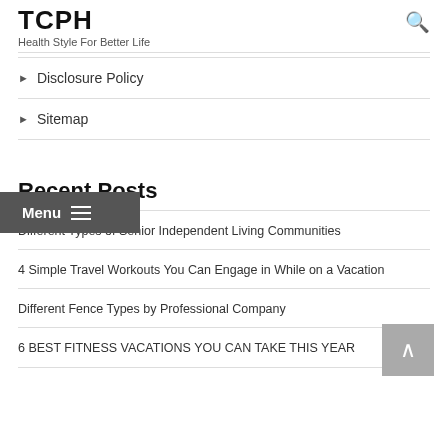TCPH
Health Style For Better Life
Disclosure Policy
Sitemap
Recent Posts
Different Types of Senior Independent Living Communities
4 Simple Travel Workouts You Can Engage in While on a Vacation
Different Fence Types by Professional Company
6 BEST FITNESS VACATIONS YOU CAN TAKE THIS YEAR